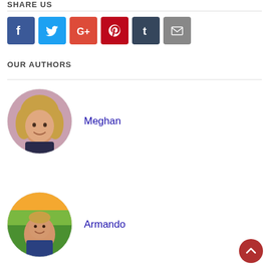SHARE US
[Figure (other): Social media sharing icons: Facebook (blue), Twitter (light blue), Google+ (red), Pinterest (dark red), Tumblr (dark navy), Email (gray)]
OUR AUTHORS
[Figure (photo): Circular profile photo of Meghan, a woman with long blonde hair smiling]
Meghan
[Figure (photo): Circular profile photo of Armando, a man outdoors with a sunset/green field background]
Armando